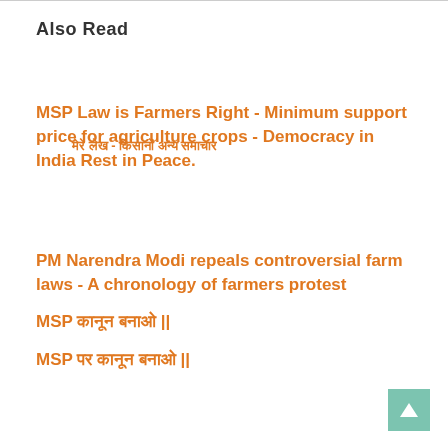Also Read
मेरे लेख - किसानों अन्य समाचार
MSP Law is Farmers Right - Minimum support price for agriculture crops - Democracy in India Rest in Peace.
PM Narendra Modi repeals controversial farm laws - A chronology of farmers protest
MSP कानून बनाओ ||
MSP पर कानून बनाओ ||